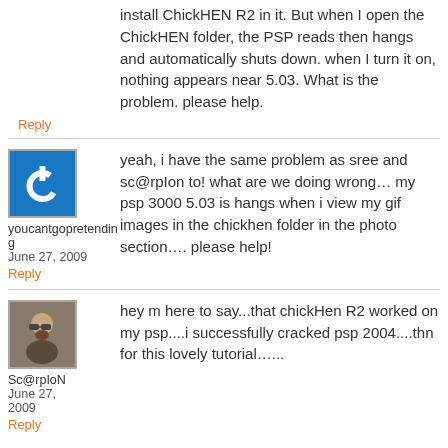install ChickHEN R2 in it. But when I open the ChickHEN folder, the PSP reads then hangs and automatically shuts down. when I turn it on, nothing appears near 5.03. What is the problem. please help.
Reply
yeah, i have the same problem as sree and sc@rpIon to! what are we doing wrong… my psp 3000 5.03 is hangs when i view my gif images in the chickhen folder in the photo section…. please help!
youcantgopretending
June 27, 2009
Reply
Sc@rpIoN
June 27, 2009
Reply
hey m here to say...that chickHen R2 worked on my psp....i successfully cracked psp 2004....thn for this lovely tutorial…...